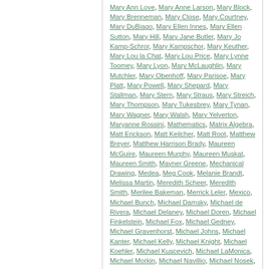Mary Ann Love, Mary Anne Larson, Mary Block, Mary Brenneman, Mary Close, Mary Courtney, Mary DuBiago, Mary Ellen Innes, Mary Ellen Sutton, Mary Hill, Mary Jane Butler, Mary Jo Kamp-Schror, Mary Kampschor, Mary Keuther, Mary Lou la Chat, Mary Lou Price, Mary Lynne Toomey, Mary Lyon, Mary McLaughlin, Mary Mutchler, Mary Obenhoff, Mary Parisoe, Mary Platt, Mary Powell, Mary Shepard, Mary Stallman, Mary Stern, Mary Straus, Mary Streich, Mary Thompson, Mary Tukesbrey, Mary Tynan, Mary Wagner, Mary Walsh, Mary Yelverton, Maryanne Rossini, Mathematics, Matrix Algebra, Matt Erickson, Matt Keilcher, Matt Root, Matthew Breyer, Matthew Harrison Brady, Maureen McGuire, Maureen Murphy, Maureen Muskat, Maureen Smith, Mayner Greene, Mechanical Drawing, Medea, Meg Cook, Melanie Brandt, Melissa Martin, Meredith Scheer, Meredith Smith, Merilee Bakeman, Merrick Leler, Mexico, Michael Bunch, Michael Damsky, Michael de Rivera, Michael Delaney, Michael Doren, Michael Finkelstein, Michael Fox, Michael Gedney, Michael Gravenhorst, Michael Johns, Michael Kanter, Michael Kelly, Michael Knight, Michael Koehler, Michael Kuscevich, Michael LaMonica, Michael Morkin, Michael Navillio, Michael Nosek,